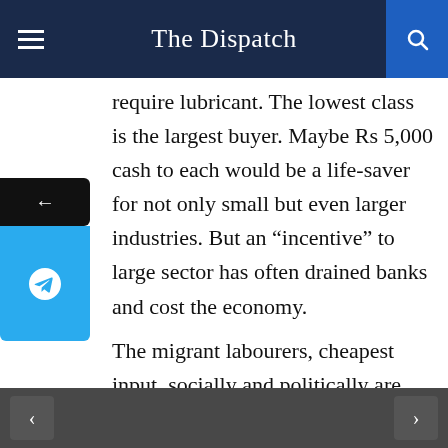The Dispatch
require lubricant. The lowest class is the largest buyer. Maybe Rs 5,000 cash to each would be a life-saver for not only small but even larger industries. But an “incentive” to large sector has often drained banks and cost the economy.
The migrant labourers, cheapest input, socially and politically are being treated as non-entities. Had these people not toiled at less than minimum wages, the real estate and many industries would